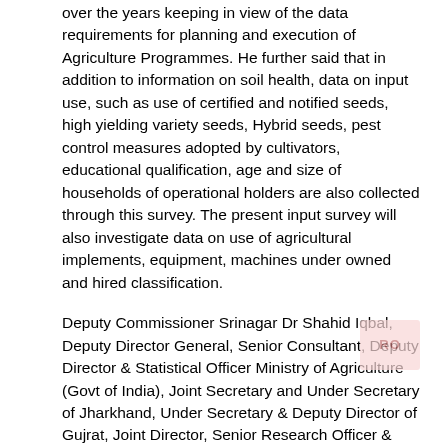over the years keeping in view of the data requirements for planning and execution of Agriculture Programmes. He further said that in addition to information on soil health, data on input use, such as use of certified and notified seeds, high yielding variety seeds, Hybrid seeds, pest control measures adopted by cultivators, educational qualification, age and size of households of operational holders are also collected through this survey. The present input survey will also investigate data on use of agricultural implements, equipment, machines under owned and hired classification.
Deputy Commissioner Srinagar Dr Shahid Iqbal, Deputy Director General, Senior Consultant, Deputy Director & Statistical Officer Ministry of Agriculture (Govt of India), Joint Secretary and Under Secretary of Jharkhand, Under Secretary & Deputy Director of Gujrat, Joint Director, Senior Research Officer & Statistical Officer of Assam, RO Agriculture Census & ARO of Himachal Pradesh, concerned officers of J&K, Chief Project Coordinator & officials of NIELT Kolkata, and other concerned officers are participating the three day workshop.